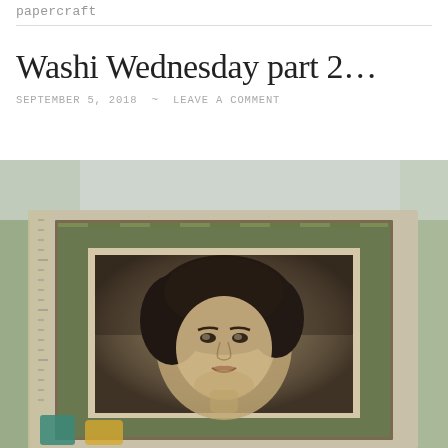papercraft
Washi Wednesday part 2…
SEPTEMBER 5, 2018 ~ LEAVE A COMMENT
[Figure (photo): A vintage black-and-white photograph of a woman with dark curly hair, smiling slightly, displayed in a decorative frame with a patterned border, placed on a craft cutting mat with ruler edges visible.]